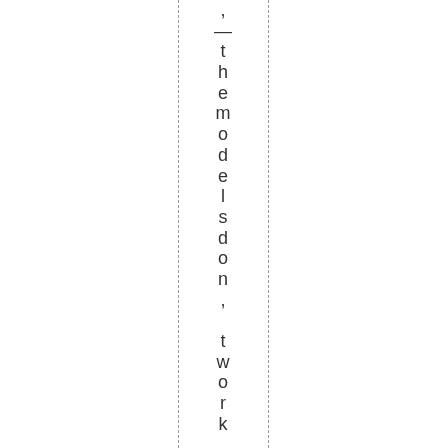, — the model s don, t work , the pu